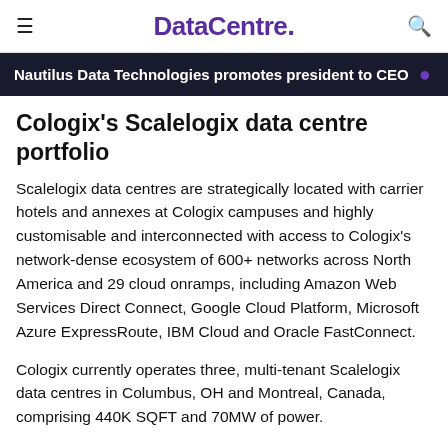DataCentre.
Nautilus Data Technologies promotes president to CEO
Cologix's Scalelogix data centre portfolio
Scalelogix data centres are strategically located with carrier hotels and annexes at Cologix campuses and highly customisable and interconnected with access to Cologix's network-dense ecosystem of 600+ networks across North America and 29 cloud onramps, including Amazon Web Services Direct Connect, Google Cloud Platform, Microsoft Azure ExpressRoute, IBM Cloud and Oracle FastConnect.
Cologix currently operates three, multi-tenant Scalelogix data centres in Columbus, OH and Montreal, Canada, comprising 440K SQFT and 70MW of power.
“With its expansive and interconnecting the Cologi...